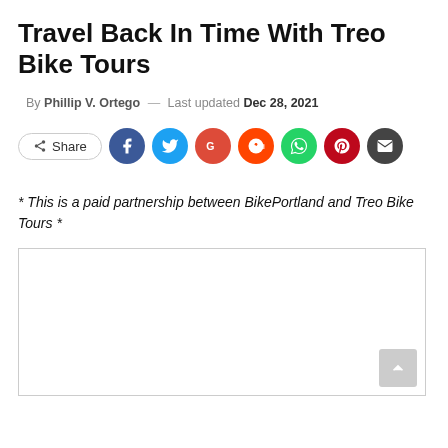Travel Back In Time With Treo Bike Tours
By Phillip V. Ortego — Last updated Dec 28, 2021
[Figure (infographic): Social share buttons: Share, Facebook, Twitter, Google, Reddit, WhatsApp, Pinterest, Email]
* This is a paid partnership between BikePortland and Treo Bike Tours *
[Figure (other): Embedded content box with back-to-top arrow button]